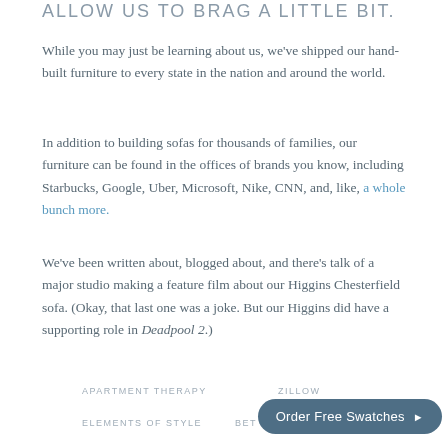ALLOW US TO BRAG A LITTLE BIT.
While you may just be learning about us, we've shipped our hand-built furniture to every state in the nation and around the world.
In addition to building sofas for thousands of families, our furniture can be found in the offices of brands you know, including Starbucks, Google, Uber, Microsoft, Nike, CNN, and, like, a whole bunch more.
We've been written about, blogged about, and there's talk of a major studio making a feature film about our Higgins Chesterfield sofa. (Okay, that last one was a joke. But our Higgins did have a supporting role in Deadpool 2.)
APARTMENT THERAPY   ZILLOW   ELEMENTS OF STYLE   BET   Order Free Swatches ▶